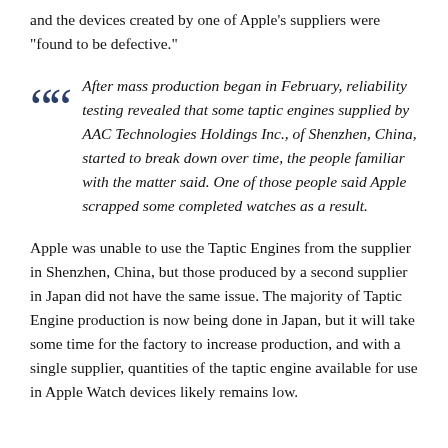and the devices created by one of Apple's suppliers were "found to be defective."
After mass production began in February, reliability testing revealed that some taptic engines supplied by AAC Technologies Holdings Inc., of Shenzhen, China, started to break down over time, the people familiar with the matter said. One of those people said Apple scrapped some completed watches as a result.
Apple was unable to use the Taptic Engines from the supplier in Shenzhen, China, but those produced by a second supplier in Japan did not have the same issue. The majority of Taptic Engine production is now being done in Japan, but it will take some time for the factory to increase production, and with a single supplier, quantities of the taptic engine available for use in Apple Watch devices likely remains low.